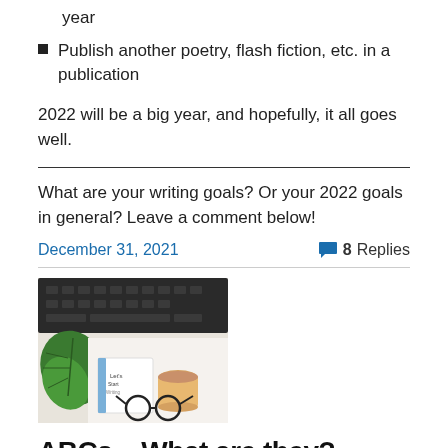year
Publish another poetry, flash fiction, etc. in a publication
2022 will be a big year, and hopefully, it all goes well.
What are your writing goals? Or your 2022 goals in general? Leave a comment below!
December 31, 2021 — 8 Replies
[Figure (photo): Flat lay photo of a laptop keyboard, monstera leaf, a book, coffee cup, and glasses on a white surface]
ABCs... What are they?  And...